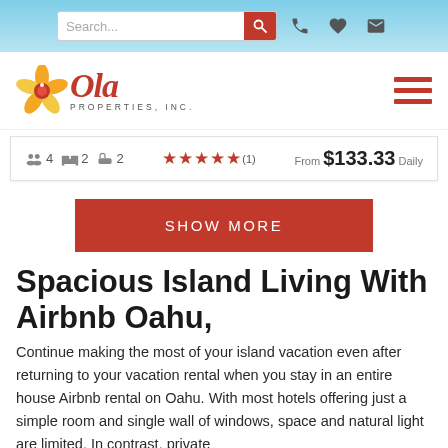Search... [search icon] [phone icon] [heart icon] [mail icon]
[Figure (logo): Ola Properties Inc logo with hibiscus flower and cursive text]
4 guests | 2 beds | 2 baths  ★★★★★ (1)  From $133.33 Daily
SHOW MORE
Spacious Island Living With Airbnb Oahu,
Continue making the most of your island vacation even after returning to your vacation rental when you stay in an entire house Airbnb rental on Oahu. With most hotels offering just a simple room and single wall of windows, space and natural light are limited. In contrast, private